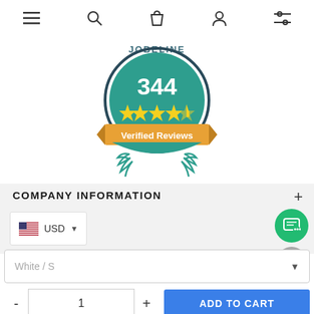[Figure (screenshot): Navigation bar with hamburger menu, search, shopping bag, user, and filter icons]
[Figure (infographic): Jobeline badge showing 344 verified reviews with 4.5 stars rating, teal circular badge with yellow stars, orange ribbon banner reading Verified Reviews, and teal laurel wreath below]
COMPANY INFORMATION
[Figure (infographic): US flag currency selector showing USD with dropdown chevron]
[Figure (infographic): Green chat FAB button and gray scroll-up FAB button]
[Figure (screenshot): White/S variant dropdown selector]
[Figure (screenshot): Quantity selector showing 1 with minus and plus buttons, and blue ADD TO CART button]